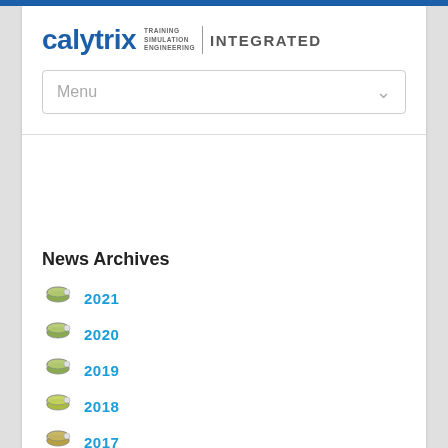[Figure (logo): Calytrix Training Simulation Engineering Integrated logo]
Menu
News Archives
2021
2020
2019
2018
2017
2016
2015